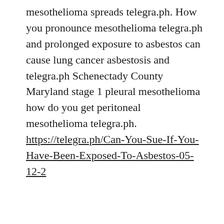mesothelioma spreads telegra.ph. How you pronounce mesothelioma telegra.ph and prolonged exposure to asbestos can cause lung cancer asbestosis and telegra.ph Schenectady County Maryland stage 1 pleural mesothelioma how do you get peritoneal mesothelioma telegra.ph. https://telegra.ph/Can-You-Sue-If-You-Have-Been-Exposed-To-Asbestos-05-12-2